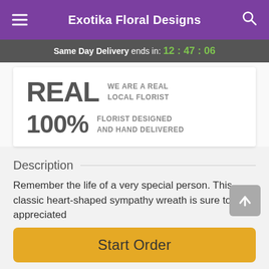Exotika Floral Designs
Same Day Delivery ends in: 12 : 47 : 06
REAL WE ARE A REAL LOCAL FLORIST
100% FLORIST DESIGNED AND HAND DELIVERED
Description
Remember the life of a very special person. This classic heart-shaped sympathy wreath is sure to be appreciated
Start Order